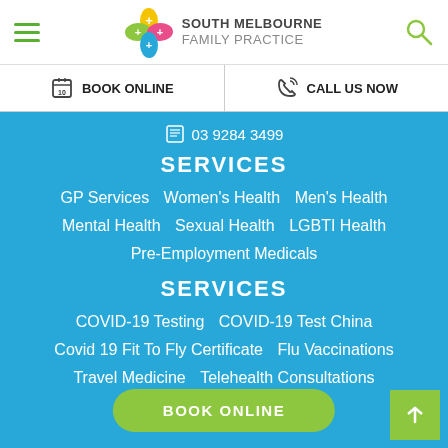[Figure (logo): South Melbourne Family Practice logo with colorful plus-sign flower icon]
BOOK ONLINE
CALL US NOW
03 9284 3499
SERVICES
GP Services
Women's Health
Men's Health
Mental Health
Sexual Health
LGBTI Health
Pre-Employment Medicals
SERVICES
COVID-19 Testing
COVID-19 Test China
Covid 19 Fit To Fly Certificate
Flu Vaccinations
Travel Medicine
Telehealth Consultations
BOOK ONLINE